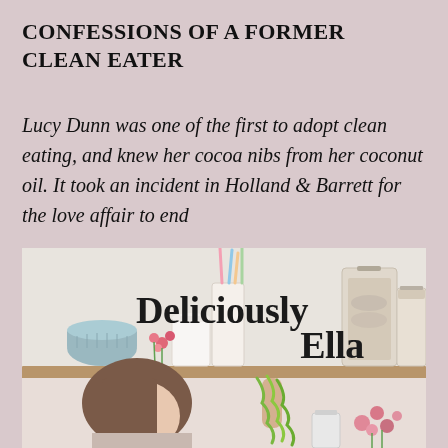CONFESSIONS OF A FORMER CLEAN EATER
Lucy Dunn was one of the first to adopt clean eating, and knew her cocoa nibs from her coconut oil. It took an incident in Holland & Barrett for the love affair to end
[Figure (photo): Book cover image for 'Deliciously Ella' showing a kitchen shelf with jars and a woman holding green noodles/vegetables, with pink flowers]